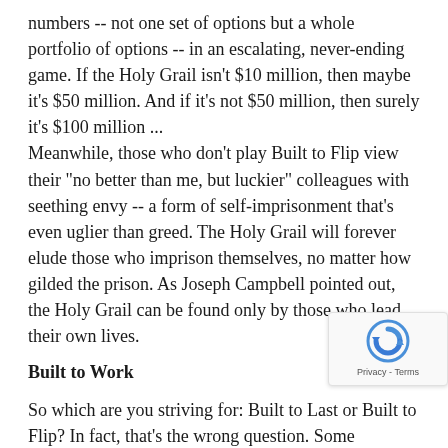numbers -- not one set of options but a whole portfolio of options -- in an escalating, never-ending game. If the Holy Grail isn't $10 million, then maybe it's $50 million. And if it's not $50 million, then surely it's $100 million ... Meanwhile, those who don't play Built to Flip view their "no better than me, but luckier" colleagues with seething envy -- a form of self-imprisonment that's even uglier than greed. The Holy Grail will forever elude those who imprison themselves, no matter how gilded the prison. As Joseph Campbell pointed out, the Holy Grail can be found only by those who lead their own lives.
Built to Work
So which are you striving for: Built to Last or Built to Flip? In fact, that's the wrong question. Some companies will be built to last; some won't. Some should be; others shouldn't. Ultimately, that's an artificial distinction.
The real question, the essential question is this: Is your